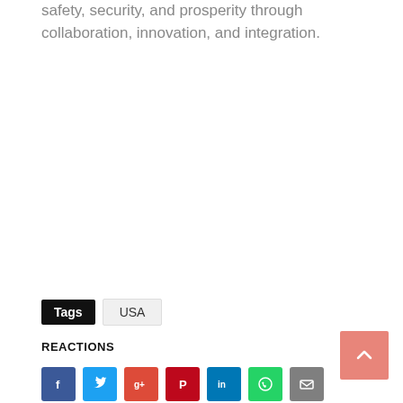safety, security, and prosperity through collaboration, innovation, and integration.
Tags  USA
REACTIONS
[Figure (other): Social sharing buttons: Facebook (blue), Twitter (light blue), Google+ (red-orange), Pinterest (dark red), LinkedIn (blue), WhatsApp (green), Email (gray)]